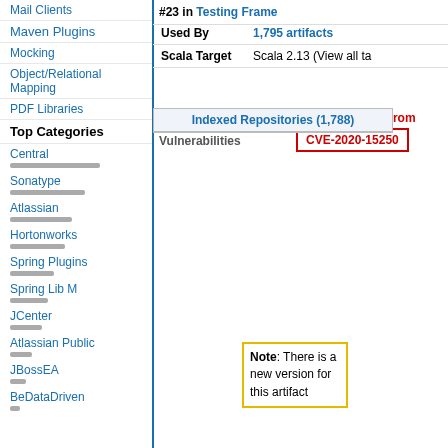Mail Clients
Maven Plugins
Mocking
Object/Relational Mapping
PDF Libraries
Top Categories
#23 in Testing Frame
Used By  1,795 artifacts
Indexed Repositories (1,788)
Scala Target  Scala 2.13 (View all ta
Vulnerabilities from
Vulnerabilities
CVE-2020-15250
Central
Sonatype
Atlassian
Hortonworks
Spring Plugins
Spring Lib M
JCenter
Atlassian Public
JBossEA
BeDataDriven
Note: There is a new version for this artifact
| New Version |  |
| --- | --- |
| New Version | 2.6.19 |
Popular Tags
Maven
aar amazon android apache api application assets atlassian aws build build-system
Gradle
Gradle
closjure cloud config cron